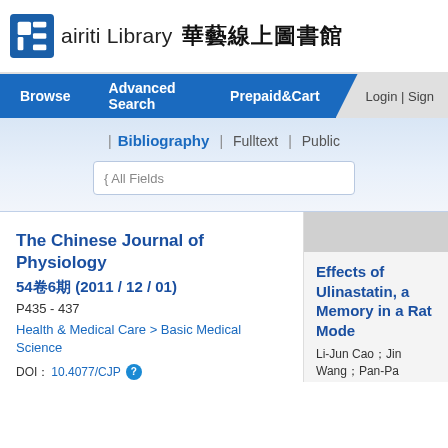[Figure (logo): airiti Library logo with blue square icon and Chinese characters 華藝線上圖書館]
Browse | Advanced Search | Prepaid&Cart | Login | Sign
| Bibliography | Fulltext | Public
All Fields
The Chinese Journal of Physiology
54卷6期 (2011 / 12 / 01)
P435 - 437
Health & Medical Care > Basic Medical Science
DOI： 10.4077/CJP
Effects of Ulinastatin, a Memory in a Rat Mode
Li-Jun Cao；Jin Wang；Pan-Pa
The Chinese Journal of Physiolo
圖圖 DOI： 10.4077/CJP.2011.B